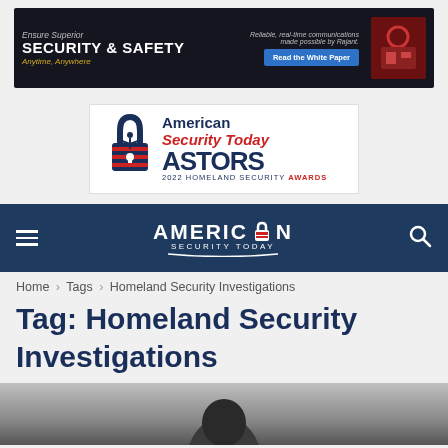[Figure (infographic): Advertisement banner: 'Ensure Superior SECURITY & SAFETY Anytime, Anywhere — Read the White Paper' with dark background and red equipment image]
[Figure (logo): American Security Today ASTORS 2022 Homeland Security Awards logo — padlock icon with figure, blue and red text]
[Figure (infographic): American Security Today navigation bar with hamburger menu icon, AMERICAN SECURITY TODAY wordmark with padlock, and search icon]
Home › Tags › Homeland Security Investigations
Tag: Homeland Security Investigations
[Figure (photo): Partial photo at bottom of page — dark silhouette of a person's head against a grey/white background]